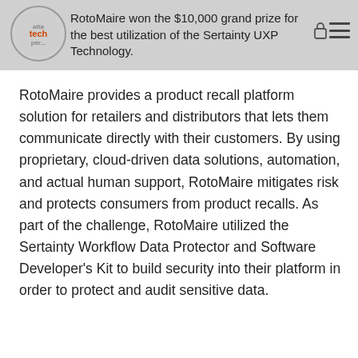RotoMaire won the $10,000 grand prize for the best utilization of the Sertainty UXP Technology.
RotoMaire provides a product recall platform solution for retailers and distributors that lets them communicate directly with their customers. By using proprietary, cloud-driven data solutions, automation, and actual human support, RotoMaire mitigates risk and protects consumers from product recalls. As part of the challenge, RotoMaire utilized the Sertainty Workflow Data Protector and Software Developer's Kit to build security into their platform in order to protect and audit sensitive data.